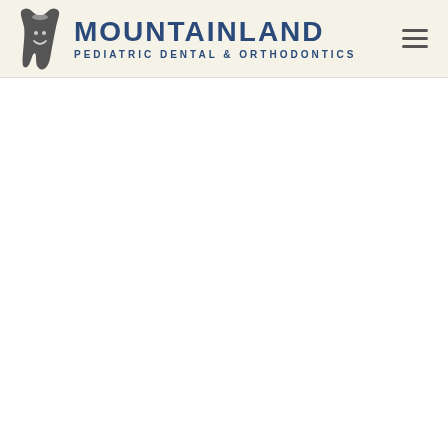[Figure (logo): Mountainland Pediatric Dental & Orthodontics logo with tooth icon and text on a cream/beige header bar, plus a hamburger menu icon on the right]